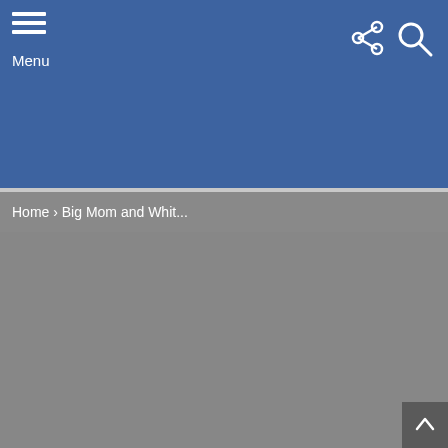[Figure (screenshot): Mobile website header bar in blue with hamburger menu icon and 'Menu' label on the left, share and search icons on the right]
Menu
Home › Big Mom and Whit...
[Figure (screenshot): Gray content area with a back-to-top arrow button in the bottom right corner]